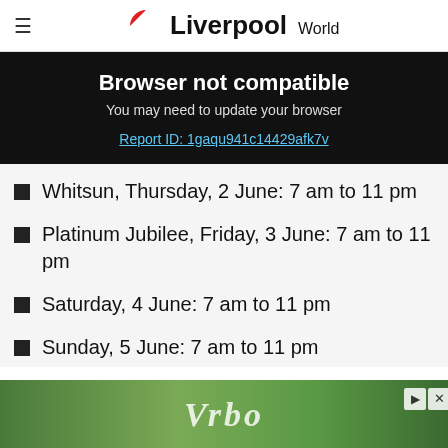Liverpool World
Browser not compatible
You may need to update your browser
Report ID: 1gaqu941c14429afk7v
Whitsun, Thursday, 2 June: 7 am to 11 pm
Platinum Jubilee, Friday, 3 June: 7 am to 11 pm
Saturday, 4 June: 7 am to 11 pm
Sunday, 5 June: 7 am to 11 pm
[Figure (other): Vrbo advertisement banner with outdoor/vacation imagery]